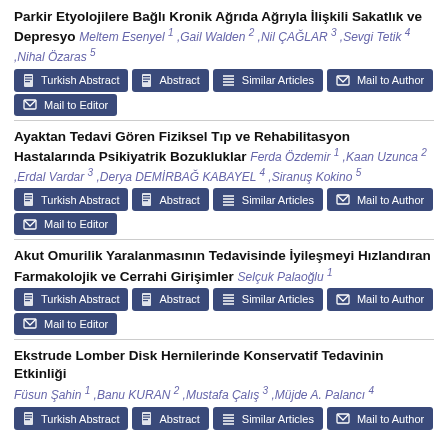Parkir Etyolojilere Bağlı Kronik Ağrıda Ağrıyla İlişkili Sakatlık ve Depresyo
Meltem Esenyel 1 ,Gail Walden 2 ,Nil ÇAĞLAR 3 ,Sevgi Tetik 4 ,Nihal Özaras 5
Ayaktan Tedavi Gören Fiziksel Tıp ve Rehabilitasyon Hastalarında Psikiyatrik Bozukluklar
Ferda Özdemir 1 ,Kaan Uzunca 2 ,Erdal Vardar 3 ,Derya DEMİRBAĞ KABAYEL 4 ,Siranuş Kokino 5
Akut Omurilik Yaralanmasının Tedavisinde İyileşmeyi Hızlandıran Farmakolojik ve Cerrahi Girişimler
Selçuk Palaoğlu 1
Ekstrude Lomber Disk Hernilerinde Konservatif Tedavinin Etkinliği
Füsun Şahin 1 ,Banu KURAN 2 ,Mustafa Çalış 3 ,Müjde A. Palancı 4